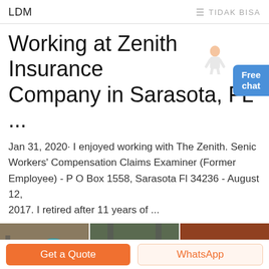LDM   ≡ TIDAK BISA
Working at Zenith Insurance Company in Sarasota, FL ...
Jan 31, 2020· I enjoyed working with The Zenith. Senior Workers' Compensation Claims Examiner (Former Employee) - P O Box 1558, Sarasota Fl 34236 - August 12, 2017. I retired after 11 years of ...
[Figure (photo): Three industrial machinery photos side by side showing crushers and mining equipment with yellow and teal colored parts]
Get a Quote
WhatsApp